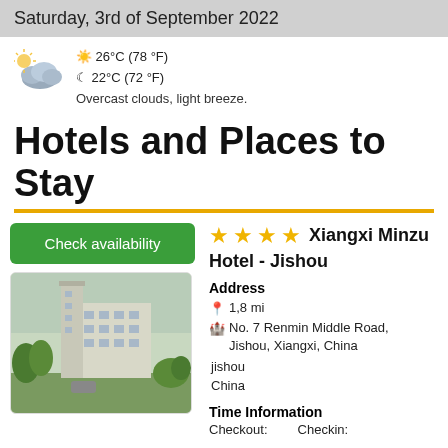Saturday, 3rd of September 2022
☀ 26°C (78 °F)
🌙 22°C (72 °F)
Overcast clouds, light breeze.
Hotels and Places to Stay
Check availability
[Figure (photo): Photo of Xiangxi Minzu Hotel exterior building]
★★★★ Xiangxi Minzu Hotel - Jishou
Address
📍 1,8 mi
🏛 No. 7 Renmin Middle Road, Jishou, Xiangxi, China
jishou
China
Time Information
Checkout: Checkin: